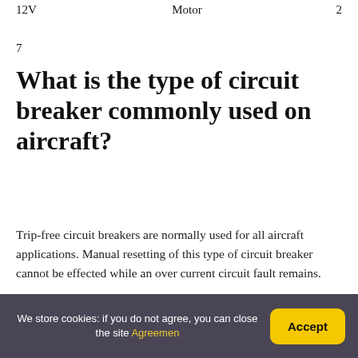| 12V | Motor | 2 |
| --- | --- | --- |
7
What is the type of circuit breaker commonly used on aircraft?
Trip-free circuit breakers are normally used for all aircraft applications. Manual resetting of this type of circuit breaker cannot be effected while an over current circuit fault remains.
We store cookies: if you do not agree, you can close the site Agreemen | Accept